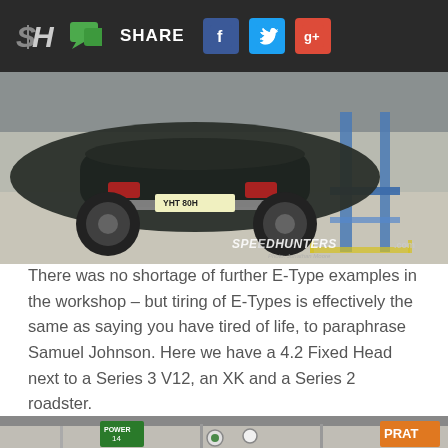SH | SHARE [Facebook] [Twitter] [Google+]
[Figure (photo): Rear view of a classic dark green Jaguar E-Type in a workshop/garage with blue car lift visible, Speedhunters.com watermark in bottom right]
There was no shortage of further E-Type examples in the workshop – but tiring of E-Types is effectively the same as saying you have tired of life, to paraphrase Samuel Johnson. Here we have a 4.2 Fixed Head next to a Series 3 V12, an XK and a Series 2 roadster.
[Figure (photo): Partial view of another garage interior with signs visible including 'POWER' sign and 'PRAT' partial sign]